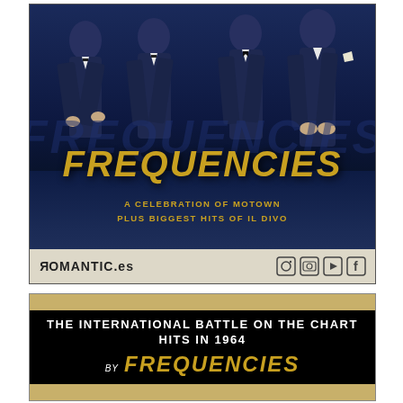[Figure (illustration): Concert/show promotional poster showing four male performers in dark suits against a deep blue background, with 'FREQUENCIES' in large gold italic text, subtitle 'A CELEBRATION OF MOTOWN PLUS BIGGEST HITS OF IL DIVO', and footer bar with 'ROMANTIC.es' logo and social media icons]
[Figure (illustration): Second promotional poster segment with gold/tan background, black bar containing text 'THE INTERNATIONAL BATTLE ON THE CHART HITS IN 1964' in white bold uppercase, and 'BY FREQUENCIES' in gold italic below]